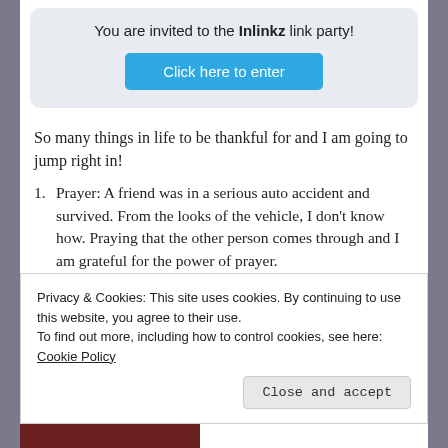You are invited to the Inlinkz link party!
[Figure (other): Blue 'Click here to enter' button]
So many things in life to be thankful for and I am going to jump right in!
Prayer: A friend was in a serious auto accident and survived. From the looks of the vehicle, I don't know how. Praying that the other person comes through and I am grateful for the power of prayer.
Poet's Connection – As one who does not easily make it
Privacy & Cookies: This site uses cookies. By continuing to use this website, you agree to their use. To find out more, including how to control cookies, see here: Cookie Policy
Close and accept